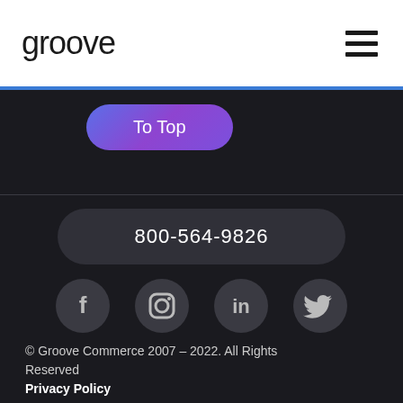groove
To Top
800-564-9826
[Figure (illustration): Social media icons: Facebook, Instagram, LinkedIn, Twitter arranged horizontally]
© Groove Commerce 2007 – 2022. All Rights Reserved
Privacy Policy